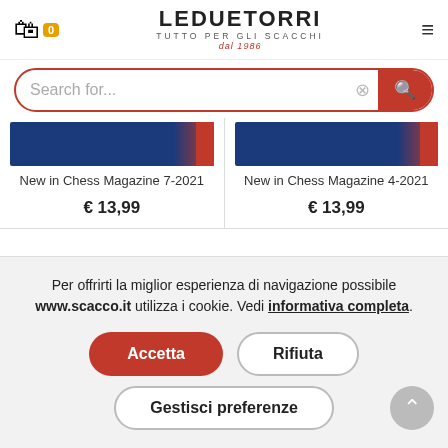[Figure (screenshot): Le Due Torri chess shop website header with logo, cart icon, search bar, two product cards for New in Chess Magazine 7-2021 and 4-2021, and a cookie consent overlay with Accetta, Rifiuta, and Gestisci preferenze buttons.]
New in Chess Magazine 7-2021
€ 13,99
New in Chess Magazine 4-2021
€ 13,99
Per offrirti la miglior esperienza di navigazione possibile www.scacco.it utilizza i cookie. Vedi informativa completa.
Accetta
Rifiuta
Gestisci preferenze